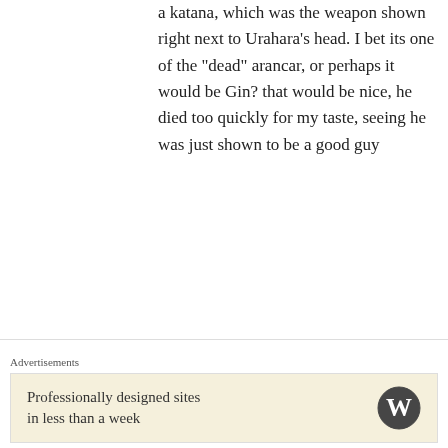a katana, which was the weapon shown right next to Urahara’s head. I bet its one of the “dead” arancar, or perhaps it would be Gin? that would be nice, he died too quickly for my taste, seeing he was just shown to be a good guy
★ Like
Sunite
July 26, 2012 at 5:36 pm
Yeah thats correct but thats no reason for them to not hold a zanpakuto? The
Advertisements
Professionally designed sites in less than a week